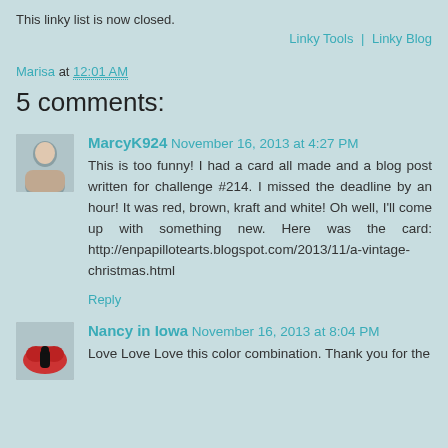This linky list is now closed.
Linky Tools | Linky Blog
Marisa at 12:01 AM
5 comments:
MarcyK924  November 16, 2013 at 4:27 PM
This is too funny! I had a card all made and a blog post written for challenge #214. I missed the deadline by an hour! It was red, brown, kraft and white! Oh well, I'll come up with something new. Here was the card: http://enpapillotearts.blogspot.com/2013/11/a-vintage-christmas.html
Reply
Nancy in Iowa  November 16, 2013 at 8:04 PM
Love Love Love this color combination. Thank you for the